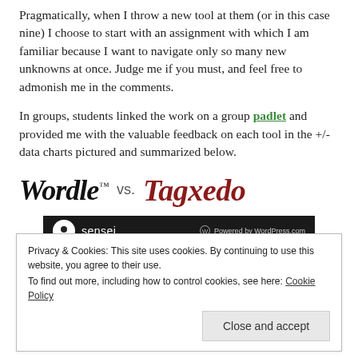Pragmatically, when I throw a new tool at them (or in this case nine) I choose to start with an assignment with which I am familiar because I want to navigate only so many new unknowns at once. Judge me if you must, and feel free to admonish me in the comments.
In groups, students linked the work on a group padlet and provided me with the valuable feedback on each tool in the +/- data charts pictured and summarized below.
[Figure (logo): Wordle™ vs. Tagxedo logo/branding text]
[Figure (screenshot): Sensei dark navigation bar with WordPress.com powered logo]
Privacy & Cookies: This site uses cookies. By continuing to use this website, you agree to their use. To find out more, including how to control cookies, see here: Cookie Policy
Close and accept